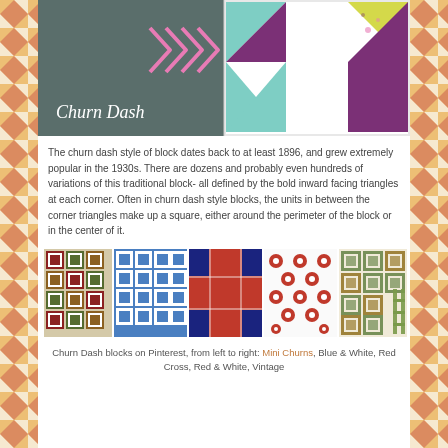[Figure (photo): Churn Dash quilt block header image with pink arrow logo on dark background on left, and colorful quilt block (purple, teal, yellow, white triangles) on right. Title reads 'Churn Dash' in white italic text.]
The churn dash style of block dates back to at least 1896, and grew extremely popular in the 1930s.  There are dozens and probably even hundreds of variations of this traditional block- all defined by the bold inward facing triangles at each corner.  Often in churn dash style blocks, the units in between the corner triangles make up a square, either around the perimeter of the block or in the center of it.
[Figure (photo): Five quilt block photos side by side: Mini Churns (multi-colored blocks), Blue & White (blue and white pattern), Red Cross (navy and red cross pattern), Red & White (red and white floral), Vintage (green and cream vintage blocks).]
Churn Dash blocks on Pinterest, from left to right: Mini Churns, Blue & White, Red Cross, Red & White, Vintage